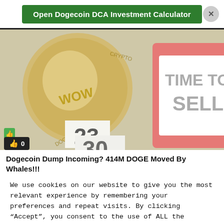Open Dogecoin DCA Investment Calculator
[Figure (photo): Dogecoin coin image overlaid with a calendar page showing 'TIME TO SELL', with numbers 23 and 30 visible on calendar pages. A like/thumbs-up badge showing 0 is in the bottom left.]
Dogecoin Dump Incoming? 414M DOGE Moved By Whales!!!
We use cookies on our website to give you the most relevant experience by remembering your preferences and repeat visits. By clicking “Accept”, you consent to the use of ALL the cookies.
Cookie settings
ACCEPT